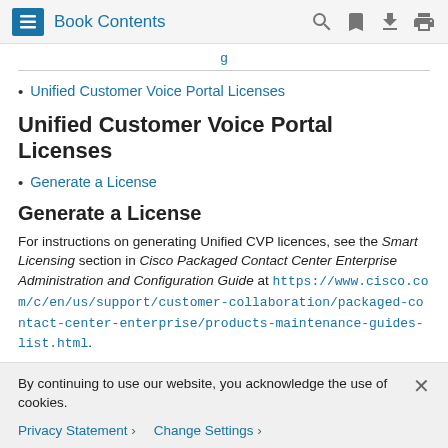Book Contents
Unified Customer Voice Portal Licenses
Unified Customer Voice Portal Licenses
Generate a License
Generate a License
For instructions on generating Unified CVP licences, see the Smart Licensing section in Cisco Packaged Contact Center Enterprise Administration and Configuration Guide at https://www.cisco.com/c/en/us/support/customer-collaboration/packaged-contact-center-enterprise/products-maintenance-guides-list.html.
By continuing to use our website, you acknowledge the use of cookies.
Privacy Statement > Change Settings >